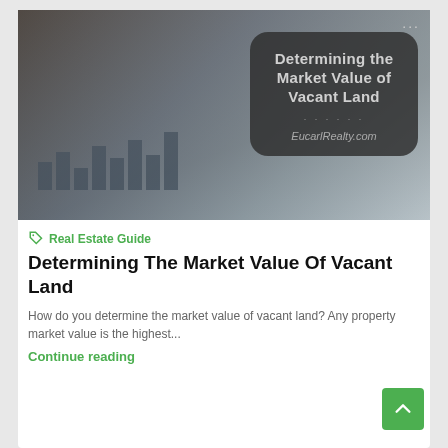[Figure (photo): Photo of hands holding a phone and stylus over bar chart documents, with a dark rounded overlay box reading 'Determining the Market Value of Vacant Land' and 'EucarlRealty.com']
Real Estate Guide
Determining The Market Value Of Vacant Land
How do you determine the market value of vacant land? Any property market value is the highest...
Continue reading